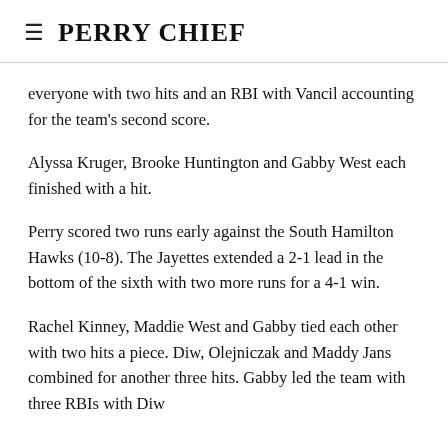≡  PERRY CHIEF
everyone with two hits and an RBI with Vancil accounting for the team's second score.
Alyssa Kruger, Brooke Huntington and Gabby West each finished with a hit.
Perry scored two runs early against the South Hamilton Hawks (10-8). The Jayettes extended a 2-1 lead in the bottom of the sixth with two more runs for a 4-1 win.
Rachel Kinney, Maddie West and Gabby tied each other with two hits a piece. Diw, Olejniczak and Maddy Jans combined for another three hits. Gabby led the team with three RBIs with Diw